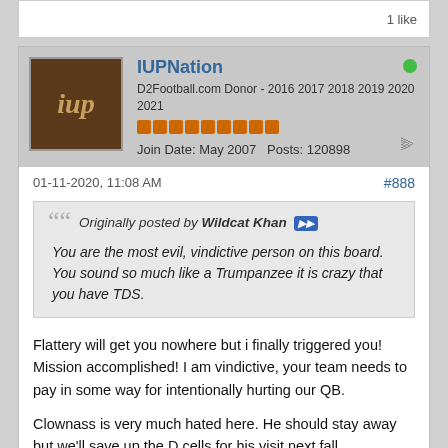1 like
IUPNation
D2Football.com Donor - 2016 2017 2018 2019 2020 2021
Join Date: May 2007   Posts: 120898
01-11-2020, 11:08 AM
#888
Originally posted by Wildcat Khan
You are the most evil, vindictive person on this board. You sound so much like a Trumpanzee it is crazy that you have TDS.
Flattery will get you nowhere but i finally triggered you! Mission accomplished! I am vindictive, your team needs to pay in some way for intentionally hurting our QB.

Clownass is very much hated here. He should stay away but we'll save up the D cells for his visit next fall.
Last edited by IUPNation; 01-11-2020, 11:32 AM.